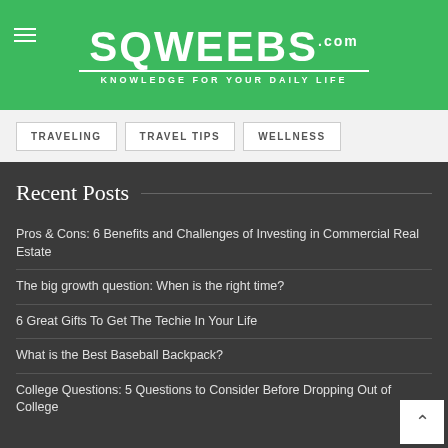SQWEEBS.com — KNOWLEDGE FOR YOUR DAILY LIFE
TRAVELING
TRAVEL TIPS
WELLNESS
Recent Posts
Pros & Cons: 6 Benefits and Challenges of Investing in Commercial Real Estate
The big growth question: When is the right time?
6 Great Gifts To Get The Techie In Your Life
What is the Best Baseball Backpack?
College Questions: 5 Questions to Consider Before Dropping Out of College